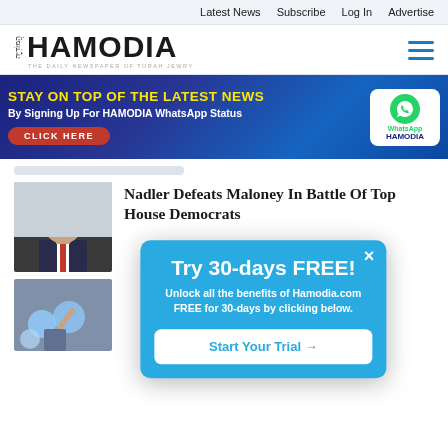Latest News  Subscribe  Log In  Advertise
[Figure (logo): Hamodia logo - The Daily Newspaper of Torah Jewry]
[Figure (infographic): Banner ad: STAY ON TOP OF THE LATEST NEWS By Signing Up For HAMODIA WhatsApp Status CLICK HERE, with WhatsApp HAMODIA logo on right]
[Figure (photo): Photo of man with glasses (Nadler)]
Nadler Defeats Maloney In Battle Of Top House Democrats
[Figure (photo): Partial photo of person with balloons]
[Figure (infographic): Popup overlay: Try 30-days FREE! Unlock all the benefits of Hamodia.com FREE for 30-days by clicking below. Start Your Trial →]